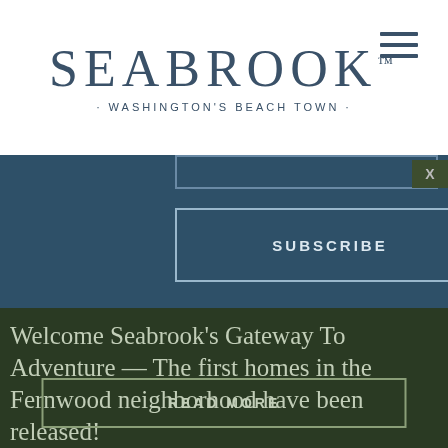[Figure (logo): Seabrook logo with text 'SEABROOK · WASHINGTON'S BEACH TOWN ·' and hamburger menu icon]
[Figure (screenshot): Subscribe button with border on teal background]
CONNECT WITH US!
[Figure (screenshot): Partial social media icons row (Facebook, Twitter/X, Instagram, LinkedIn, Pinterest)]
Welcome Seabrook's Gateway To Adventure — The first homes in the Fernwood neighborhood have been released!
[Figure (screenshot): READ MORE button with border on dark green background]